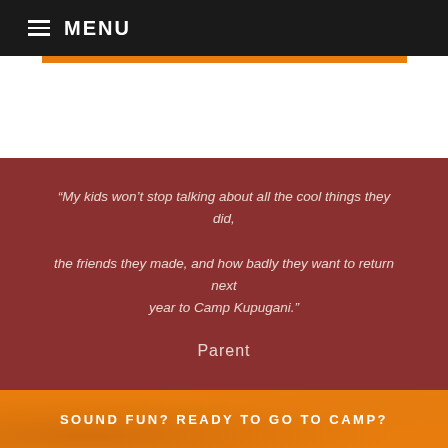MENU
“My kids won’t stop talking about all the cool things they did, the friends they made, and how badly they want to return next year to Camp Kupugani.” Parent
SOUND FUN? READY TO GO TO CAMP?